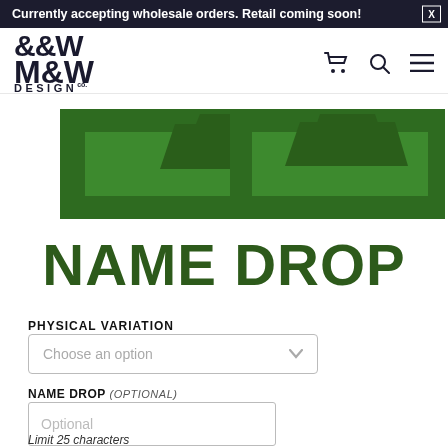Currently accepting wholesale orders. Retail coming soon!
[Figure (logo): M&W Design Co. logo in dark navy/black with stylized hand lettering]
[Figure (illustration): Two green pennant/flag product images side by side showing name drop product]
NAME DROP
PHYSICAL VARIATION
Choose an option
NAME DROP (OPTIONAL)
Optional
Limit 25 characters